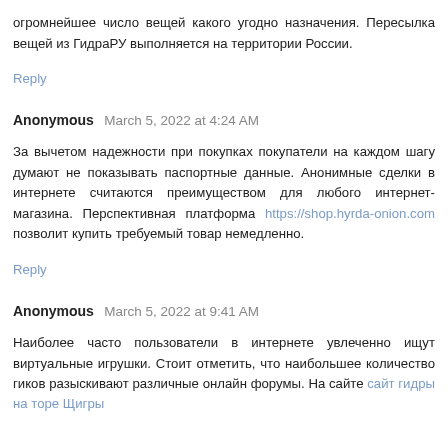огромнейшее число вещей какого угодно назначения. Пересылка вещей из ГидраРУ выполняется на территории России.
Reply
Anonymous March 5, 2022 at 4:24 AM
За вычетом надежности при покупках покупатели на каждом шагу думают не показывать паспортные данные. Анонимные сделки в интернете считаются преимуществом для любого интернет-магазина. Перспективная платформа https://shop.hyrda-onion.com позволит купить требуемый товар немедленно.
Reply
Anonymous March 5, 2022 at 9:41 AM
Наиболее часто пользователи в интернете увлеченно ищут виртуальные игрушки. Стоит отметить, что наибольшее количество гиков разыскивают различные онлайн форумы. На сайте сайт гидры на торе Щигры